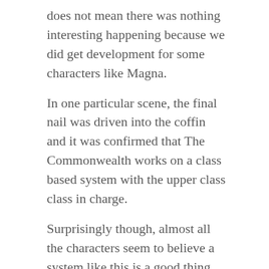does not mean there was nothing interesting happening because we did get development for some characters like Magna.
In one particular scene, the final nail was driven into the coffin and it was confirmed that The Commonwealth works on a class based system with the upper class class in charge.
Surprisingly though, almost all the characters seem to believe a system like this is a good thing.
This is strange because, if you think about it, they came from a society that was almost a Utopia.
Rick built a system in Alexandria where everyone is equal and it does not matter who you were before.
If you remove all the zombies and outside groups, like The Whisperers, trying to kill them, then Rick's society